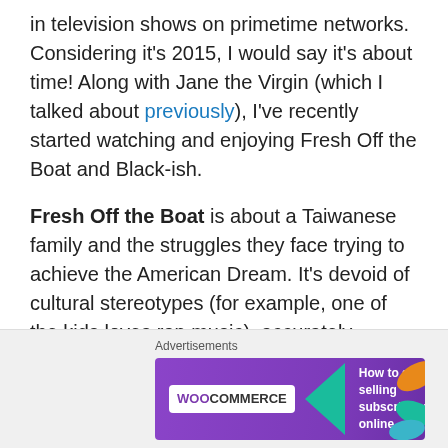in television shows on primetime networks. Considering it's 2015, I would say it's about time! Along with Jane the Virgin (which I talked about previously), I've recently started watching and enjoying Fresh Off the Boat and Black-ish.
Fresh Off the Boat is about a Taiwanese family and the struggles they face trying to achieve the American Dream. It's devoid of cultural stereotypes (for example, one of the kids loves rap music), accurately portrays the confusion many immigrants face, while also being hilariously funny. Another thing I enjoy about this show is that it's based in the 90s, which feels like an ode to the greatest decade.
[Figure (other): WooCommerce advertisement banner: purple background with WooCommerce logo, teal arrow, and text 'How to start selling subscriptions online' with orange/teal leaf decorations in corner.]